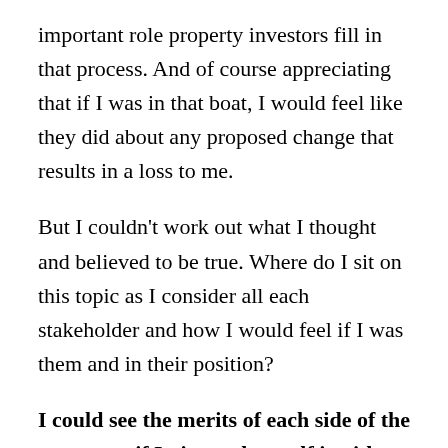important role property investors fill in that process. And of course appreciating that if I was in that boat, I would feel like they did about any proposed change that results in a loss to me.
But I couldn't work out what I thought and believed to be true. Where do I sit on this topic as I consider all each stakeholder and how I would feel if I was them and in their position?
I could see the merits of each side of the argument if I pictured myself in either camp.
I thought the program did I good job of discussing the subject and showing multiple views. Yet I was